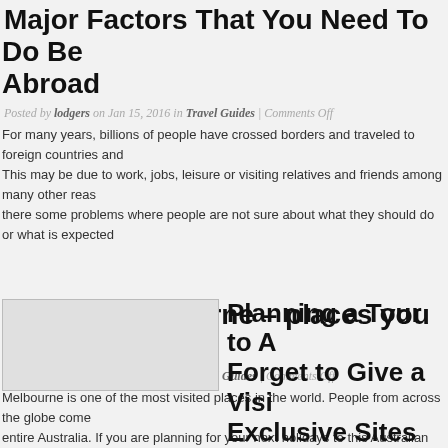Major Factors That You Need To Do Before Going Abroad
Posted by lodgers on Jan 15, 2016 in Travel Guides | Comments Off
For many years, billions of people have crossed borders and traveled to foreign countries and This may be due to work, jobs, leisure or visiting relatives and friends among many other reas there some problems where people are not sure about what they should do or what is expected
Visiting Melbourne – places you must g
Posted by lodgers on Aug 31, 2015 in Travel Guides | Comments Off
Melbourne is one of the most visited places in the world. People from across the globe come entire Australia. If you are planning for your next holidays to this Australian city, here are the sure that your trip to this island country is complete and most memorable one. Trains and tran
[Figure (photo): Thumbnail image placeholder for article about Planning a Tour]
Planning a Tour to A Forget to Give a Visi Exclusive Sites